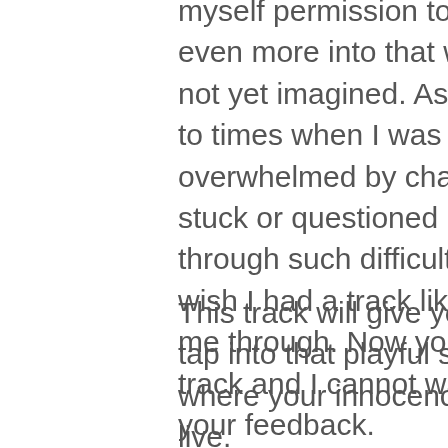myself permission to expand even more into that which I have not yet imagined. As I think back to times when I was overwhelmed by challenge or stuck or questioned if I had to go through such difficult lessons, I wish I had a track like this to help me through. Now you have this track and I cannot wait to hear your feedback.
This track will give you relief and tap into that playful side of life, where your innocence and joy live.